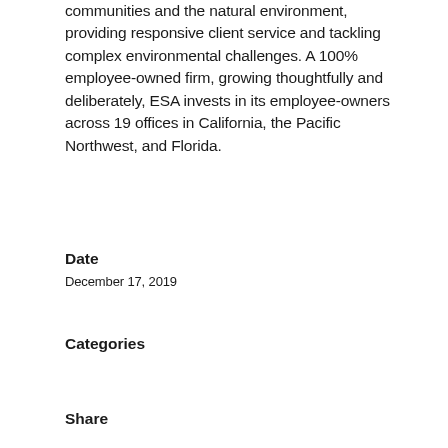communities and the natural environment, providing responsive client service and tackling complex environmental challenges. A 100% employee-owned firm, growing thoughtfully and deliberately, ESA invests in its employee-owners across 19 offices in California, the Pacific Northwest, and Florida.
Date
December 17, 2019
Categories
Share